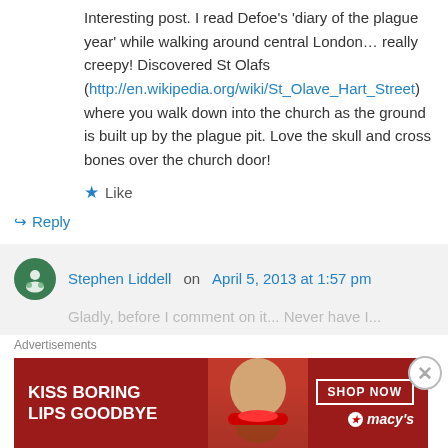Interesting post. I read Defoe's 'diary of the plague year' while walking around central London… really creepy! Discovered St Olafs (http://en.wikipedia.org/wiki/St_Olave_Hart_Street) where you walk down into the church as the ground is built up by the plague pit. Love the skull and cross bones over the church door!
★ Like
↪ Reply
Stephen Liddell on April 5, 2013 at 1:57 pm
Advertisements
[Figure (infographic): Macy's advertisement banner: KISS BORING LIPS GOODBYE with SHOP NOW button and Macy's logo]